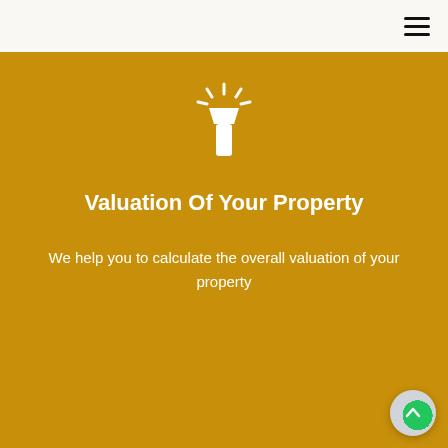[Figure (illustration): Flashlight icon in white on golden/amber background]
Valuation Of Your Property
We help you to calculate the overall valuation of your property